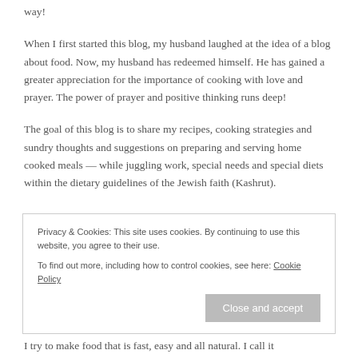way!
When I first started this blog, my husband laughed at the idea of a blog about food. Now, my husband has redeemed himself. He has gained a greater appreciation for the importance of cooking with love and prayer. The power of prayer and positive thinking runs deep!
The goal of this blog is to share my recipes, cooking strategies and sundry thoughts and suggestions on preparing and serving home cooked meals — while juggling work, special needs and special diets within the dietary guidelines of the Jewish faith (Kashrut).
Privacy & Cookies: This site uses cookies. By continuing to use this website, you agree to their use.
To find out more, including how to control cookies, see here: Cookie Policy
I try to make food that is fast, easy and all natural. I call it